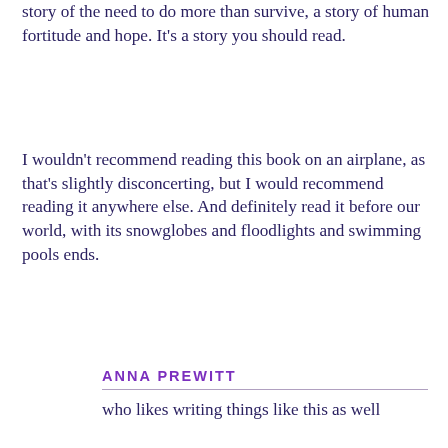story of the need to do more than survive, a story of human fortitude and hope. It's a story you should read.
I wouldn't recommend reading this book on an airplane, as that's slightly disconcerting, but I would recommend reading it anywhere else. And definitely read it before our world, with its snowglobes and floodlights and swimming pools ends.
ANNA PREWITT
who likes writing things like this as well